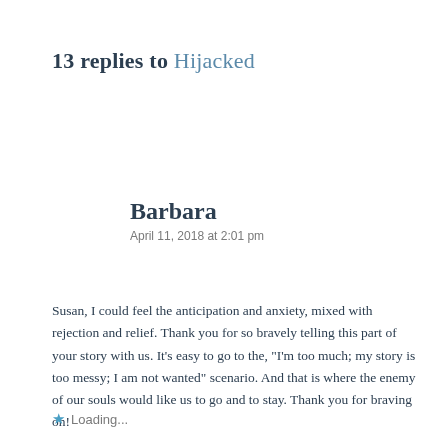13 replies to Hijacked
Barbara
April 11, 2018 at 2:01 pm
Susan, I could feel the anticipation and anxiety, mixed with rejection and relief. Thank you for so bravely telling this part of your story with us. It’s easy to go to the, “I’m too much; my story is too messy; I am not wanted” scenario. And that is where the enemy of our souls would like us to go and to stay. Thank you for braving on!
Loading...